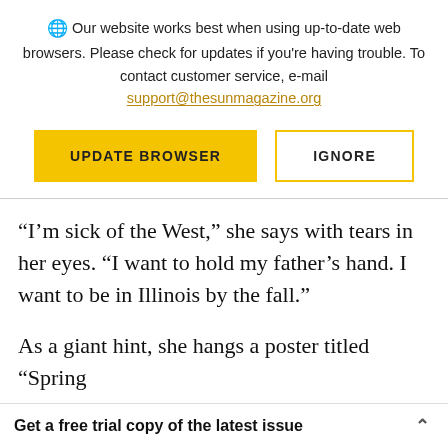🌐 Our website works best when using up-to-date web browsers. Please check for updates if you're having trouble. To contact customer service, e-mail support@thesunmagazine.org
[Figure (other): Two buttons: a yellow filled button labeled UPDATE BROWSER and a yellow-outlined white button labeled IGNORE]
“I’m sick of the West,” she says with tears in her eyes. “I want to hold my father’s hand. I want to be in Illinois by the fall.”
As a giant hint, she hangs a poster titled “Spring
Get a free trial copy of the latest issue